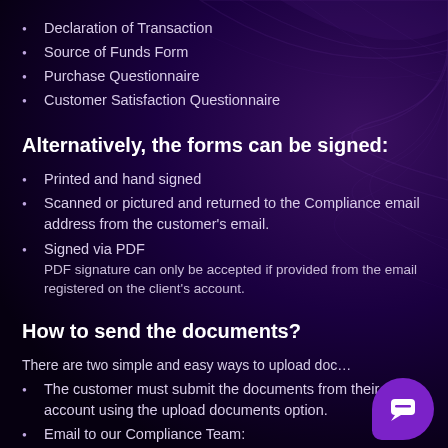Declaration of Transaction
Source of Funds Form
Purchase Questionnaire
Customer Satisfaction Questionnaire
Alternatively, the forms can be signed:
Printed and hand signed
Scanned or pictured and returned to the Compliance email address from the customer's email.
Signed via PDF
PDF signature can only be accepted if provided from the email registered on the client's account.
How to send the documents?
There are two simple and easy ways to upload doc…
The customer must submit the documents from their account using the upload documents option.
Email to our Compliance Team: